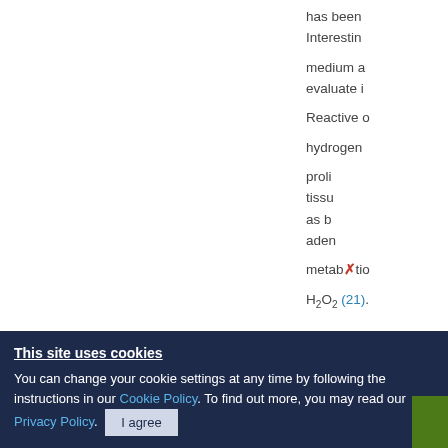has been Interestin medium a evaluate i Reactive o hydrogen proli tissu as by aden metabtic H2O2 (21).
This site uses cookies
You can change your cookie settings at any time by following the instructions in our Cookie Policy. To find out more, you may read our Privacy Policy.